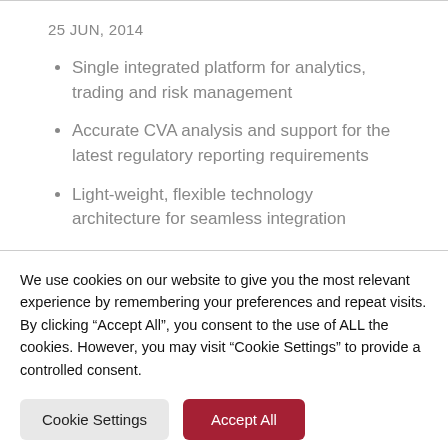25 JUN, 2014
Single integrated platform for analytics, trading and risk management
Accurate CVA analysis and support for the latest regulatory reporting requirements
Light-weight, flexible technology architecture for seamless integration
We use cookies on our website to give you the most relevant experience by remembering your preferences and repeat visits. By clicking “Accept All”, you consent to the use of ALL the cookies. However, you may visit “Cookie Settings” to provide a controlled consent.